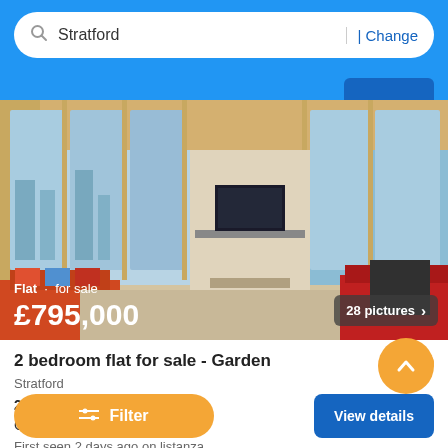Stratford | Change
[Figure (photo): Interior photo of a modern high-rise flat with floor-to-ceiling windows, large TV, and red sofas. Overlaid text: 'Flat · for sale £795,000'. Badge: '28 pictures >']
2 bedroom flat for sale - Garden
Stratford
2 Bedrooms  1 Bath
Garden · Loft
First seen 2 days ago on listanza
Filter
View details